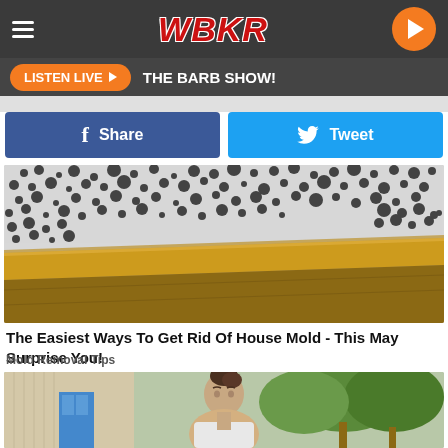WBKR
LISTEN LIVE ▶  THE BARB SHOW!
[Figure (other): Facebook Share button and Twitter Tweet button side by side]
[Figure (photo): Black mold covering the corner of a white wall near a wooden baseboard]
The Easiest Ways To Get Rid Of House Mold - This May Surprise You!
Mold Removal Tips
[Figure (photo): Woman with hair in bun standing outdoors in front of a building with a blue door and trees in background]